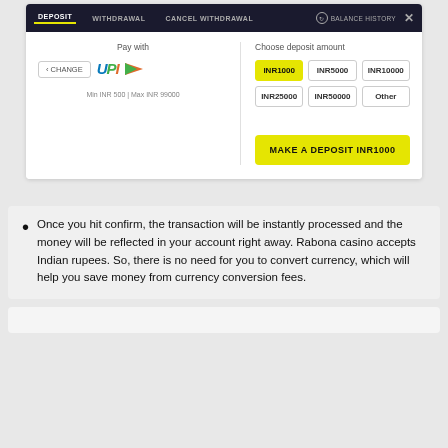[Figure (screenshot): Online casino deposit interface showing UPI payment method selected, deposit amount options (INR1000 selected, INR5000, INR10000, INR25000, INR50000, Other), and a 'MAKE A DEPOSIT INR1000' button. Navigation tabs: DEPOSIT (active), WITHDRAWAL, CANCEL WITHDRAWAL. Min INR 500 | Max INR 99000 shown.]
Once you hit confirm, the transaction will be instantly processed and the money will be reflected in your account right away. Rabona casino accepts Indian rupees. So, there is no need for you to convert currency, which will help you save money from currency conversion fees.